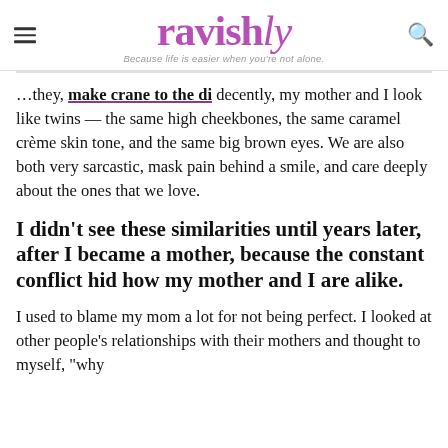ravishly — Because life is easier when you're not alone.
...they, [underlined text], my mother and I look like twins — the same high cheekbones, the same caramel crème skin tone, and the same big brown eyes. We are also both very sarcastic, mask pain behind a smile, and care deeply about the ones that we love.
I didn't see these similarities until years later, after I became a mother, because the constant conflict hid how my mother and I are alike.
I used to blame my mom a lot for not being perfect. I looked at other people's relationships with their mothers and thought to myself, "why